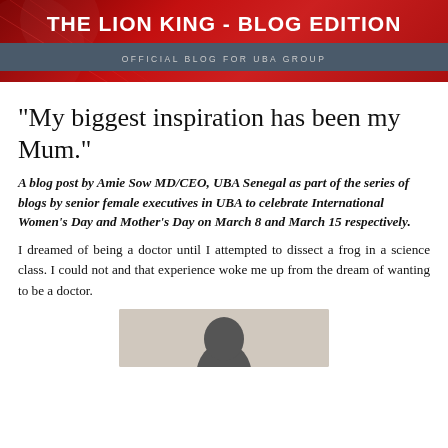THE LION KING - BLOG EDITION | OFFICIAL BLOG FOR UBA GROUP
"My biggest inspiration has been my Mum."
A blog post by Amie Sow MD/CEO, UBA Senegal as part of the series of blogs by senior female executives in UBA to celebrate International Women's Day and Mother's Day on March 8 and March 15 respectively.
I dreamed of being a doctor until I attempted to dissect a frog in a science class. I could not and that experience woke me up from the dream of wanting to be a doctor.
[Figure (photo): Photo of Amie Sow, partially visible at bottom of page, showing top of head]